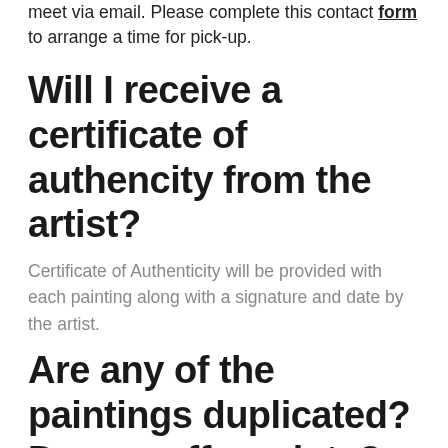meet via email. Please complete this contact form to arrange a time for pick-up.
Will I receive a certificate of authencity from the artist?
Certificate of Authenticity will be provided with each painting along with a signature and date by the artist.
Are any of the paintings duplicated? Do you offer prints?